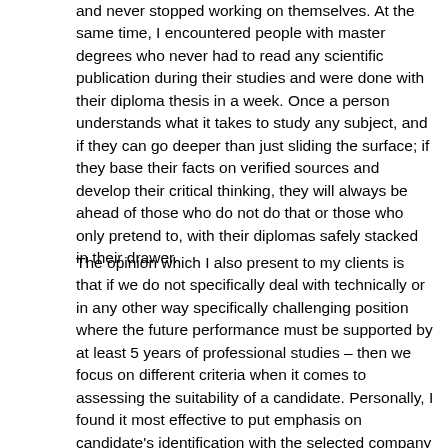and never stopped working on themselves. At the same time, I encountered people with master degrees who never had to read any scientific publication during their studies and were done with their diploma thesis in a week. Once a person understands what it takes to study any subject, and if they can go deeper than just sliding the surface; if they base their facts on verified sources and develop their critical thinking, they will always be ahead of those who do not do that or those who only pretend to, with their diplomas safely stacked in their drawer.
The opinion which I also present to my clients is that if we do not specifically deal with technically or in any other way specifically challenging position where the future performance must be supported by at least 5 years of professional studies – then we focus on different criteria when it comes to assessing the suitability of a candidate. Personally, I found it most effective to put emphasis on candidate's identification with the selected company and its products; their level of motivation, life attitudes and goals and last but not least, their